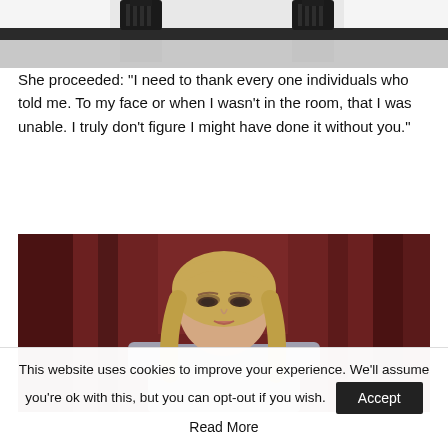[Figure (photo): Top portion of a photo showing feet/legs in black heeled boots on a dark surface, cropped at the top of the page]
She proceeded: “I need to thank every one individuals who told me. To my face or when I wasn’t in the room, that I was unable. I truly don’t figure I might have done it without you.”
[Figure (photo): A woman with blonde shoulder-length hair wearing a grey structured top, posed against a dark red/burgundy draped background, looking directly at the camera]
This website uses cookies to improve your experience. We’ll assume you’re ok with this, but you can opt-out if you wish. Accept Read More